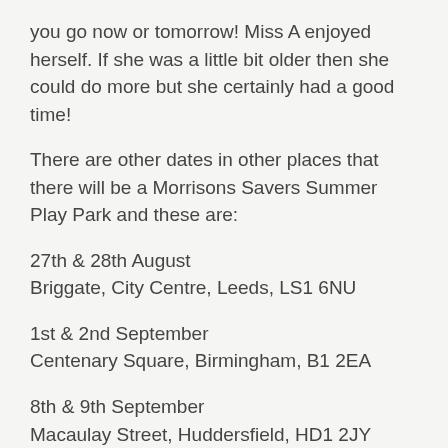you go now or tomorrow! Miss A enjoyed herself. If she was a little bit older then she could do more but she certainly had a good time!
There are other dates in other places that there will be a Morrisons Savers Summer Play Park and these are:
27th & 28th August
Briggate, City Centre, Leeds, LS1 6NU
1st & 2nd September
Centenary Square, Birmingham, B1 2EA
8th & 9th September
Macaulay Street, Huddersfield, HD1 2JY
Here are some photos of Miss A enjoying herself. There are set activities during the day but Miss A was